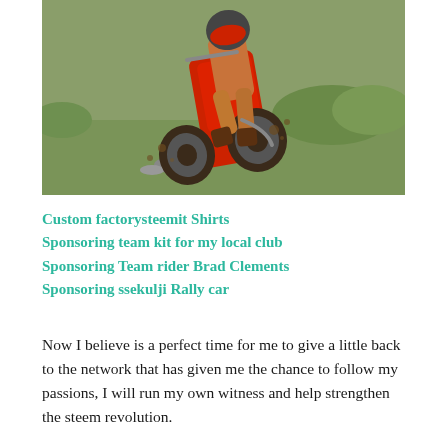[Figure (photo): A motocross rider on a red dirt bike airborne over a grassy field, mud spraying from the wheels.]
Custom factorysteemit Shirts
Sponsoring team kit for my local club
Sponsoring Team rider Brad Clements
Sponsoring ssekulji Rally car
Now I believe is a perfect time for me to give a little back to the network that has given me the chance to follow my passions, I will run my own witness and help strengthen the steem revolution.